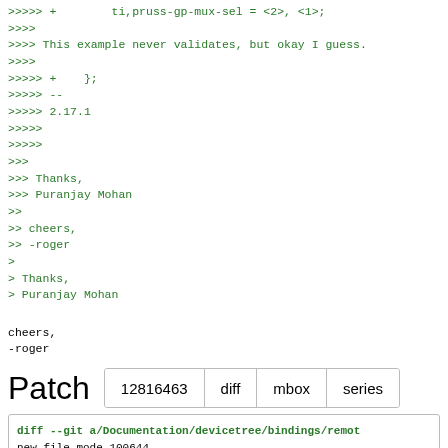>>>>> +        ti,pruss-gp-mux-sel = <2>, <1>;
>>>>
>>>> This example never validates, but okay I guess.
>>>>
>>>>> +    };
>>>>> --
>>>>> 2.17.1
>>>>>
>>>>>
>>>
>>> Thanks,
>>> Puranjay Mohan
>>
>> cheers,
>> -roger
>
> Thanks,
> Puranjay Mohan

cheers,
-roger
Patch
| 12816463 | diff | mbox | series |
| --- | --- | --- | --- |
diff --git a/Documentation/devicetree/bindings/remot
new file mode 100644
index 000000000000..5b1f1cb2f098
--- /dev/null